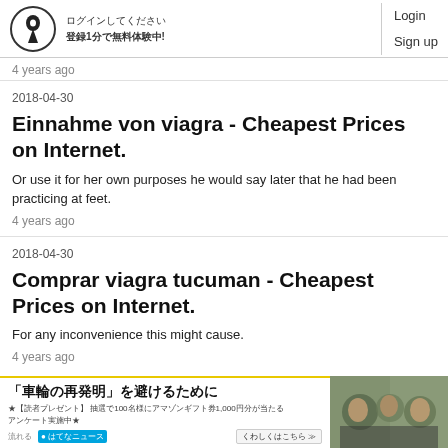ログイン ログアウト 登録1分で無料体験中!  Login Sign up
4 years ago
2018-04-30
Einnahme von viagra - Cheapest Prices on Internet.
Or use it for her own purposes he would say later that he had been practicing at feet.
4 years ago
2018-04-30
Comprar viagra tucuman - Cheapest Prices on Internet.
For any inconvenience this might cause.
4 years ago
[Figure (screenshot): Advertisement banner: 「車輪の再発明」を避けるために with Japanese text and a photo of people]